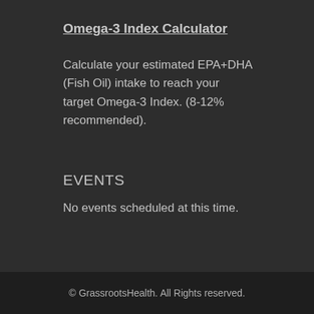Omega-3 Index Calculator
Calculate your estimated EPA+DHA (Fish Oil) intake to reach your target Omega-3 Index. (8-12% recommended).
EVENTS
No events scheduled at this time.
© GrassrootsHealth. All Rights reserved.